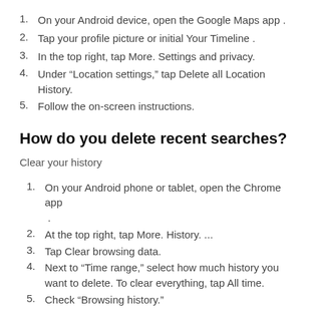1. On your Android device, open the Google Maps app .
2. Tap your profile picture or initial Your Timeline .
3. In the top right, tap More. Settings and privacy.
4. Under “Location settings,” tap Delete all Location History.
5. Follow the on-screen instructions.
How do you delete recent searches?
Clear your history
1. On your Android phone or tablet, open the Chrome app .
2. At the top right, tap More. History. ...
3. Tap Clear browsing data.
4. Next to “Time range,” select how much history you want to delete. To clear everything, tap All time.
5. Check “Browsing history.”